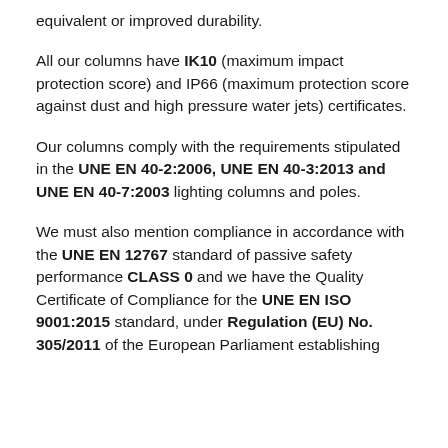equivalent or improved durability.
All our columns have IK10 (maximum impact protection score) and IP66 (maximum protection score against dust and high pressure water jets) certificates.
Our columns comply with the requirements stipulated in the UNE EN 40-2:2006, UNE EN 40-3:2013 and UNE EN 40-7:2003 lighting columns and poles.
We must also mention compliance in accordance with the UNE EN 12767 standard of passive safety performance CLASS 0 and we have the Quality Certificate of Compliance for the UNE EN ISO 9001:2015 standard, under Regulation (EU) No. 305/2011 of the European Parliament establishing